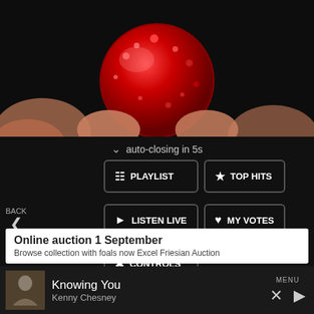[Figure (photo): Close-up photo of a red sparkly/glittery candy or berry held between fingers against a dark background]
auto-closing in 5s
BACK
COLLAPSE
PLAYLIST
TOP HITS
LISTEN LIVE
MY VOTES
CONTROLS
Data opt-out
Online auction 1 September
Browse collection with foals now Excel Friesian Auction
Knowing You
Kenny Chesney
MENU